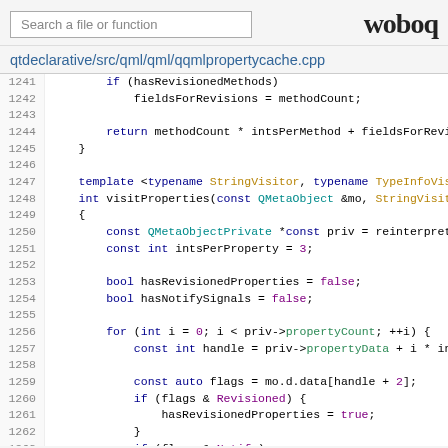Search a file or function | woboq
qtdeclarative/src/qml/qml/qqmlpropertycache.cpp
[Figure (screenshot): C++ source code viewer showing lines 1241-1267 of qqmlpropertycache.cpp with syntax highlighting. Code includes a function returning methodCount calculations, and a template function visitProperties with a for loop iterating over properties checking flags for Revisioned and Notify.]